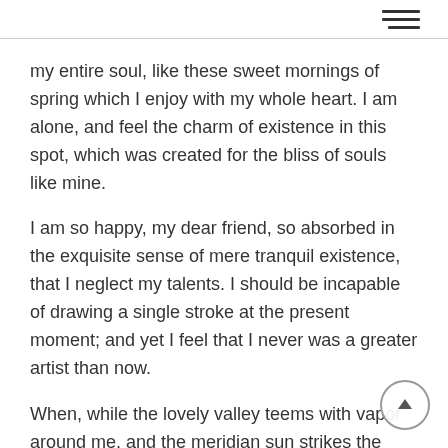my entire soul, like these sweet mornings of spring which I enjoy with my whole heart. I am alone, and feel the charm of existence in this spot, which was created for the bliss of souls like mine.
I am so happy, my dear friend, so absorbed in the exquisite sense of mere tranquil existence, that I neglect my talents. I should be incapable of drawing a single stroke at the present moment; and yet I feel that I never was a greater artist than now.
When, while the lovely valley teems with vapor around me, and the meridian sun strikes the upper surface of the impenetrable foliage of my trees, but a few stray gleams steal into the inner sanctuary, I throw myself down among the tall grass by the